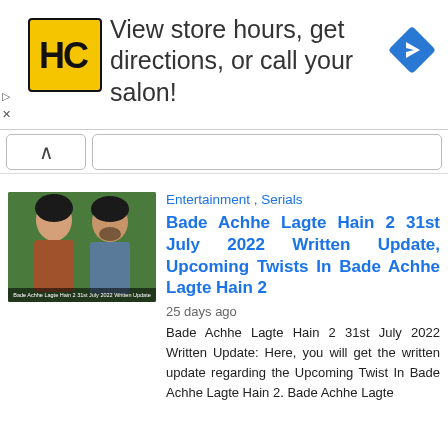[Figure (infographic): Advertisement banner with HC salon logo (yellow background with black HC letters), text 'View store hours, get directions, or call your salon!', and a blue diamond-shaped navigation arrow icon on the right.]
Entertainment , Serials
Bade Achhe Lagte Hain 2 31st July 2022 Written Update, Upcoming Twists In Bade Achhe Lagte Hain 2
25 days ago
Bade Achhe Lagte Hain 2 31st July 2022 Written Update: Here, you will get the written update regarding the Upcoming Twist In Bade Achhe Lagte Hain 2. Bade Achhe Lagte
[Figure (photo): Thumbnail image showing two Bollywood actors (a woman and a man) against a green background, with caption text 'Bade Achhe Lagte Hain 2 31st July 2022 Written Update']